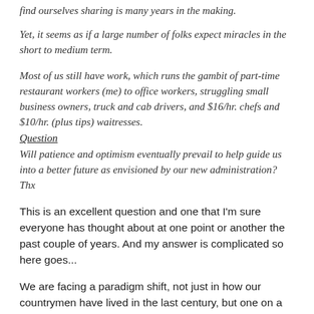find ourselves sharing is many years in the making.
Yet, it seems as if a large number of folks expect miracles in the short to medium term.
Most of us still have work, which runs the gambit of part-time restaurant workers (me) to office workers, struggling small business owners, truck and cab drivers, and $16/hr. chefs and $10/hr. (plus tips) waitresses.
Question
Will patience and optimism eventually prevail to help guide us into a better future as envisioned by our new administration? Thx
This is an excellent question and one that I'm sure everyone has thought about at one point or another the past couple of years. And my answer is complicated so here goes...
We are facing a paradigm shift, not just in how our countrymen have lived in the last century, but one on a much deeper level. Reality tells us there are limited resources – current research shows, it literally would take one and a half